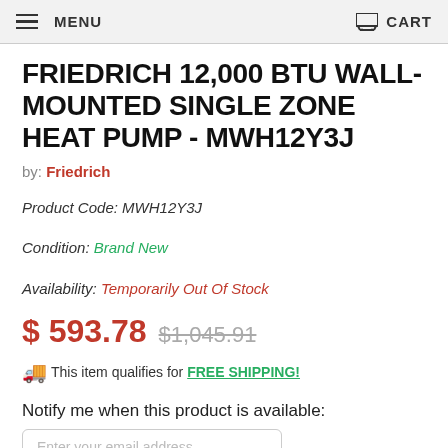MENU  CART
FRIEDRICH 12,000 BTU WALL-MOUNTED SINGLE ZONE HEAT PUMP - MWH12Y3J
by: Friedrich
Product Code: MWH12Y3J
Condition: Brand New
Availability: Temporarily Out Of Stock
$ 593.78  $1,045.91
🚚 This item qualifies for FREE SHIPPING!
Notify me when this product is available:
Enter your email address...